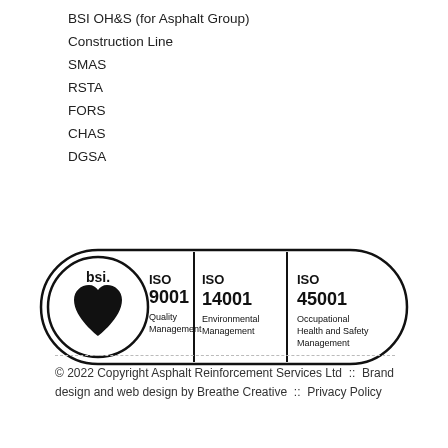BSI OH&S (for Asphalt Group)
Construction Line
SMAS
RSTA
FORS
CHAS
DGSA
[Figure (logo): BSI certification logo showing three pills: ISO 9001 Quality Management, ISO 14001 Environmental Management, ISO 45001 Occupational Health and Safety Management]
© 2022 Copyright Asphalt Reinforcement Services Ltd :: Brand design and web design by Breathe Creative :: Privacy Policy